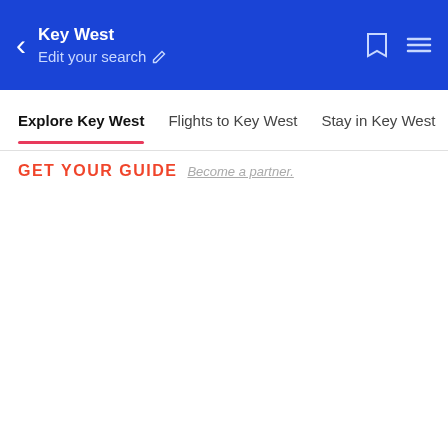Key West | Edit your search
Explore Key West  Flights to Key West  Stay in Key West
GET YOUR GUIDE  Become a partner.